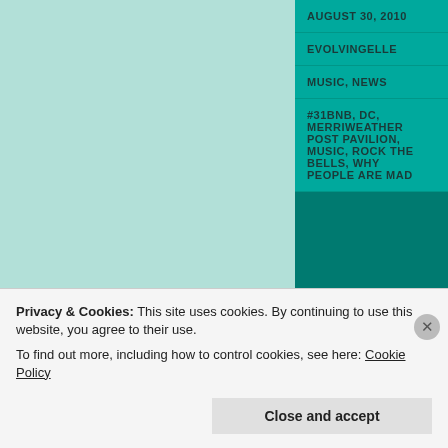Rock the Bells
Hip Hop
Lauryn Hill
AUGUST 30, 2010
EVOLVINGELLE
MUSIC, NEWS
#31BNB, DC, MERRIWEATHER POST PAVILION, MUSIC, ROCK THE BELLS, WHY PEOPLE ARE MAD
Privacy & Cookies: This site uses cookies. By continuing to use this website, you agree to their use. To find out more, including how to control cookies, see here: Cookie Policy
Close and accept